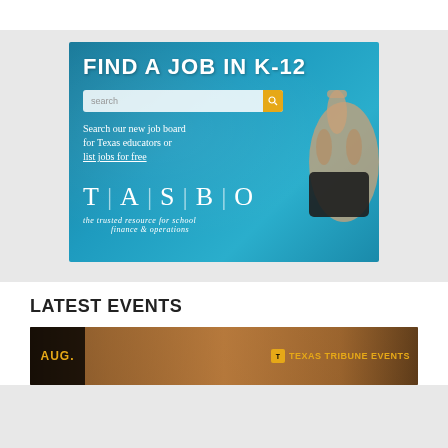[Figure (other): TASBO advertisement banner: 'FIND A JOB IN K-12' with search bar, text 'Search our new job board for Texas educators or list jobs for free', TASBO logo, tagline 'the trusted resource for school finance & operations', and a hand pointing at the search button]
LATEST EVENTS
[Figure (photo): Event image bar showing an arched architectural background with 'AUG.' badge on the left and 'TEXAS TRIBUNE EVENTS' badge on the right]